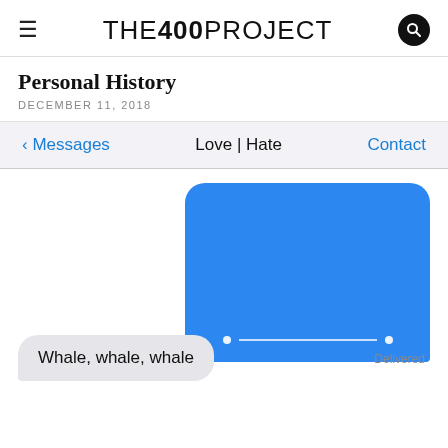THE 400 PROJECT
Personal History
DECEMBER 11, 2018
[Figure (screenshot): iOS Messages interface showing a conversation header with back arrow '< Messages', center title 'Love | Hate', and 'Contact' button on the right. Below is a sent blue iMessage bubble (content redacted/blank with a line and two dots at the bottom), marked 'Delivered'. A received grey bubble at the bottom reads 'Whale, whale, whale'.]